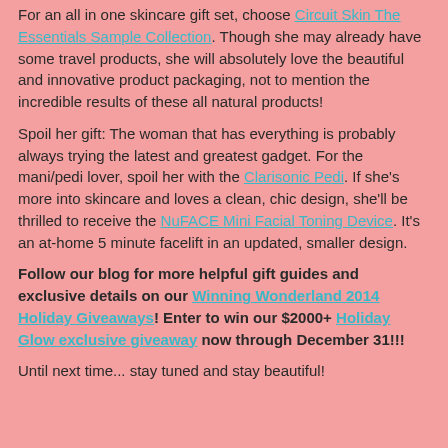For an all in one skincare gift set, choose Circuit Skin The Essentials Sample Collection.  Though she may already have some travel products, she will absolutely love the beautiful and innovative product packaging, not to mention the incredible results of these all natural products!
Spoil her gift:  The woman that has everything is probably always trying the latest and greatest gadget.  For the mani/pedi lover, spoil her with the Clarisonic Pedi.  If she's more into skincare and loves a clean, chic design, she'll be thrilled to receive the NuFACE Mini Facial Toning Device.  It's an at-home 5 minute facelift in an updated, smaller design.
Follow our blog for more helpful gift guides and exclusive details on our Winning Wonderland 2014 Holiday Giveaways!  Enter to win our $2000+ Holiday Glow exclusive giveaway now through December 31!!!
Until next time... stay tuned and stay beautiful!